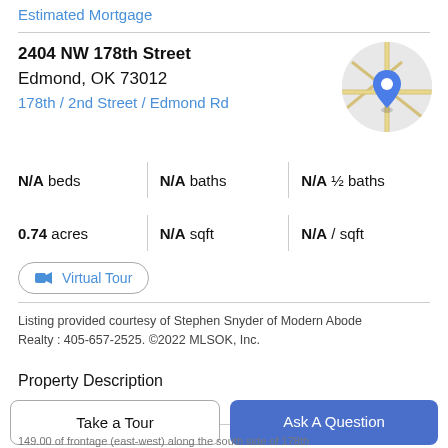Estimated Mortgage
2404 NW 178th Street
Edmond, OK 73012
178th / 2nd Street / Edmond Rd
[Figure (map): Circular map thumbnail showing a location pin in Edmond, OK area]
N/A beds | N/A baths | N/A ½ baths
0.74 acres | N/A sqft | N/A / sqft
Virtual Tour
Listing provided courtesy of Stephen Snyder of Modern Abode Realty : 405-657-2525. ©2022 MLSOK, Inc.
Property Description
Take a Tour
Ask A Question
149.00 of frontage (east-west) along the south side of 178th